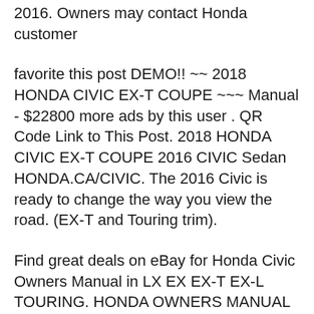2016. Owners may contact Honda customer
favorite this post DEMO!! ~~ 2018 HONDA CIVIC EX-T COUPE ~~~ Manual - $22800 more ads by this user . QR Code Link to This Post. 2018 HONDA CIVIC EX-T COUPE 2016 CIVIC Sedan HONDA.CA/CIVIC. The 2016 Civic is ready to change the way you view the road. (EX-T and Touring trim).
Find great deals on eBay for Honda Civic Owners Manual in LX EX EX-T EX-L TOURING. HONDA OWNERS MANUAL $HONDA OWNERS MANUAL SET 2016 CIVIC SEDAN CASE Find great deals on eBay for Honda Civic Owners Manual in